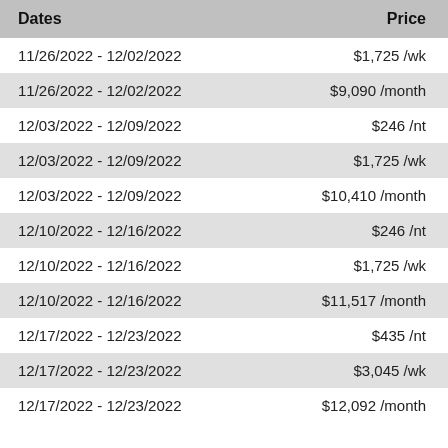| Dates | Price |
| --- | --- |
| 11/26/2022 - 12/02/2022 | $1,725 /wk |
| 11/26/2022 - 12/02/2022 | $9,090 /month |
| 12/03/2022 - 12/09/2022 | $246 /nt |
| 12/03/2022 - 12/09/2022 | $1,725 /wk |
| 12/03/2022 - 12/09/2022 | $10,410 /month |
| 12/10/2022 - 12/16/2022 | $246 /nt |
| 12/10/2022 - 12/16/2022 | $1,725 /wk |
| 12/10/2022 - 12/16/2022 | $11,517 /month |
| 12/17/2022 - 12/23/2022 | $435 /nt |
| 12/17/2022 - 12/23/2022 | $3,045 /wk |
| 12/17/2022 - 12/23/2022 | $12,092 /month |